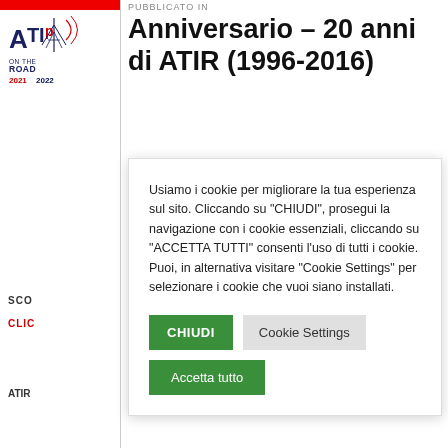[Figure (logo): ATIR On The Road 2021 2022 logo with stylized tower/antenna illustration]
PUBBLICATO IN
Anniversario – 20 anni di ATIR (1996-2016)
Usiamo i cookie per migliorare la tua esperienza sul sito. Cliccando su "CHIUDI", prosegui la navigazione con i cookie essenziali, cliccando su "ACCETTA TUTTI" consenti l'uso di tutti i cookie. Puoi, in alternativa visitare "Cookie Settings" per selezionare i cookie che vuoi siano installati.
SCO
CLIC
ATIR